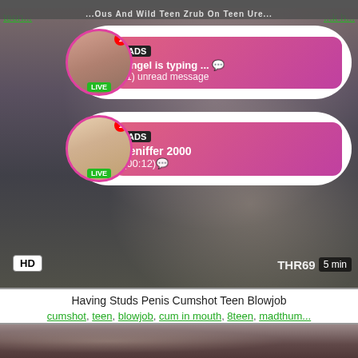[Figure (screenshot): Adult website screenshot showing video thumbnails with pop-up ad overlays. Two ad overlays shown: one for 'Angel is typing...' with LIVE badge, another for 'Jeniffer 2000 (00:12)' with LIVE badge. Video has HD badge, THR69 watermark, 5 min duration.]
Having Studs Penis Cumshot Teen Blowjob
cumshot, teen, blowjob, cum in mouth, 8teen, madthum...